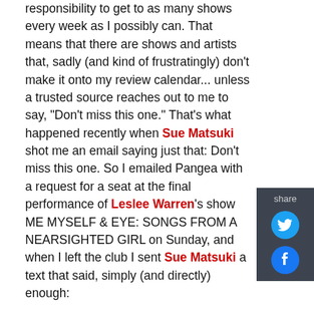responsibility to get to as many shows every week as I possibly can. That means that there are shows and artists that, sadly (and kind of frustratingly) don't make it onto my review calendar... unless a trusted source reaches out to me to say, "Don't miss this one." That's what happened recently when Sue Matsuki shot me an email saying just that: Don't miss this one. So I emailed Pangea with a request for a seat at the final performance of Leslee Warren's show ME MYSELF & EYE: SONGS FROM A NEARSIGHTED GIRL on Sunday, and when I left the club I sent Sue Matsuki a text that said, simply (and directly) enough:

"Thank you. Thank you. Thank you. Thank you. Thank you."